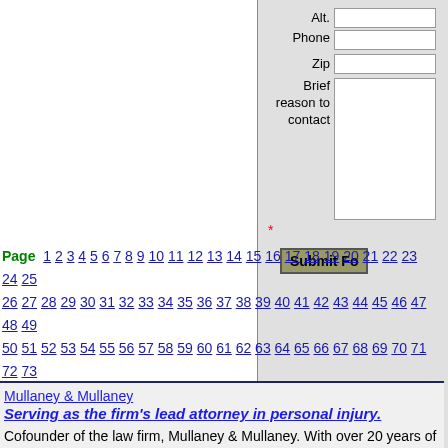[Figure (screenshot): Partial web form showing fields: Alt. Phone, Zip, Brief reason to contact (textarea), asterisk required marker, and Submit Form button. Right panel with grey background.]
Page 1 2 3 4 5 6 7 8 9 10 11 12 13 14 15 16 17 18 19 20 21 22 23 24 25 26 27 28 29 30 31 32 33 34 35 36 37 38 39 40 41 42 43 44 45 46 47 48 49 50 51 52 53 54 55 56 57 58 59 60 61 62 63 64 65 66 67 68 69 70 71 72 73 74 75 76 77 78 79 80 81 82 83 84 85 86 87 88 89 90 91 92 93 94 95 96 97 98 99 100 101 102 103 104 105 106 107 108 109 110 111 112 113 114
Mullaney & Mullaney
Serving as the firm's lead attorney in personal injury.
Cofounder of the law firm, Mullaney & Mullaney. With over 20 years of experience, he has helped thousands of people victimized by such things as medical malpractice, car accidents, truck accidents, slip & fall.
3881 Skippack Pike
Skippack, PA 19438
USA